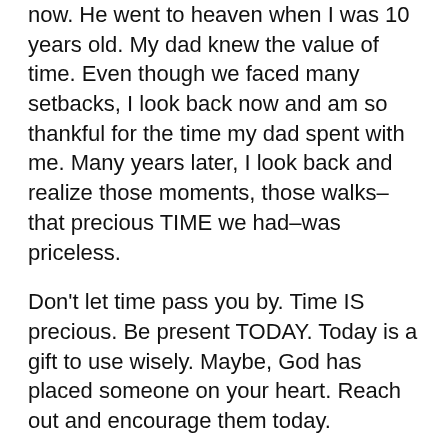now. He went to heaven when I was 10 years old. My dad knew the value of time. Even though we faced many setbacks, I look back now and am so thankful for the time my dad spent with me. Many years later, I look back and realize those moments, those walks–that precious TIME we had–was priceless.
Don't let time pass you by. Time IS precious. Be present TODAY. Today is a gift to use wisely. Maybe, God has placed someone on your heart. Reach out and encourage them today.
Prayer: Father, thank you for the gift of today. O, Lord, help us to number our days. This is the day that You have made and we will rejoice and be glad in it. Help us Lord to value our time and make the most of each day to do what matters most.